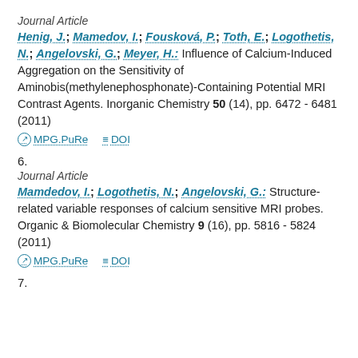Journal Article
Henig, J.; Mamedov, I.; Fousková, P.; Toth, E.; Logothetis, N.; Angelovski, G.; Meyer, H.: Influence of Calcium-Induced Aggregation on the Sensitivity of Aminobis(methylenephosphonate)-Containing Potential MRI Contrast Agents. Inorganic Chemistry 50 (14), pp. 6472 - 6481 (2011)
MPG.PuRe   DOI
6.
Journal Article
Mamdedov, I.; Logothetis, N.; Angelovski, G.: Structure-related variable responses of calcium sensitive MRI probes. Organic & Biomolecular Chemistry 9 (16), pp. 5816 - 5824 (2011)
MPG.PuRe   DOI
7.